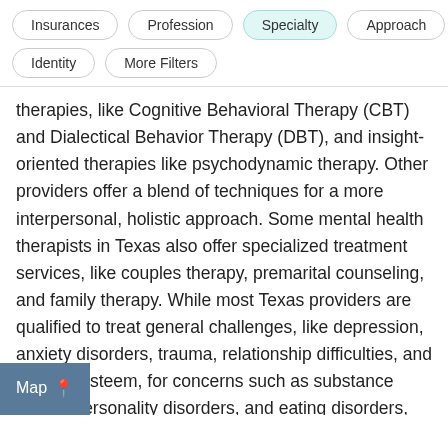[Figure (screenshot): Filter bar with pill-shaped buttons: Insurances, Profession, Specialty (active/highlighted), Approach, Identity, More Filters]
therapies, like Cognitive Behavioral Therapy (CBT) and Dialectical Behavior Therapy (DBT), and insight-oriented therapies like psychodynamic therapy. Other providers offer a blend of techniques for a more interpersonal, holistic approach. Some mental health therapists in Texas also offer specialized treatment services, like couples therapy, premarital counseling, and family therapy. While most Texas providers are qualified to treat general challenges, like depression, anxiety disorders, trauma, relationship difficulties, and low self-esteem, for concerns such as substance abuse, personality disorders, and eating disorders, consider seeking expert care. With your therapist, you'll build a treatment plan that addresses your reasons for seeking therapy and monitor progress toward your wellness goals and overall